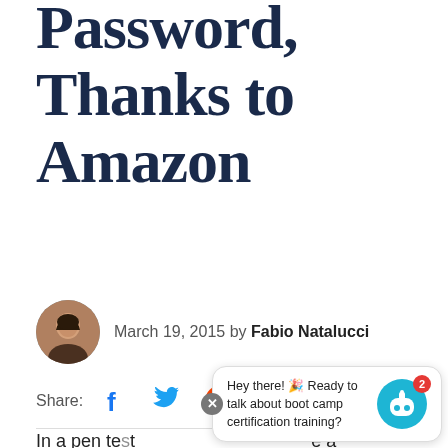Password, Thanks to Amazon
March 19, 2015 by Fabio Natalucci
Share:
In a pen test... cracking a p... the type of password and available hardware